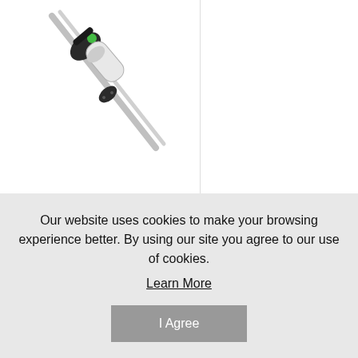[Figure (photo): Blackfire Clamplight Backpack product image showing a clamp light attached to a pole/rod, with black and green accents on a white background]
Blackfire Clamplight Backpack
$44.95
ADD TO
Our website uses cookies to make your browsing experience better. By using our site you agree to our use of cookies.
Learn More
I Agree